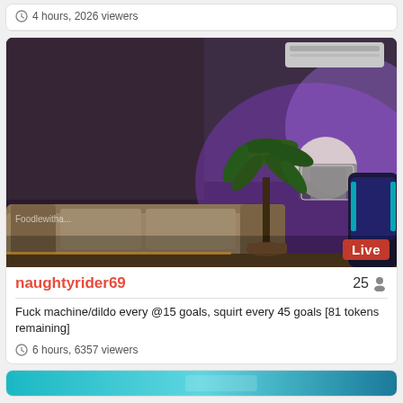4 hours, 2026 viewers
[Figure (screenshot): Live stream thumbnail showing a room interior with purple/violet ambient lighting, a couch, palm plant, lamp, and gaming chair. 'Live' badge in red bottom right. Watermark text partially visible bottom left.]
naughtyrider69   25
Fuck machine/dildo every @15 goals, squirt every 45 goals [81 tokens remaining]
6 hours, 6357 viewers